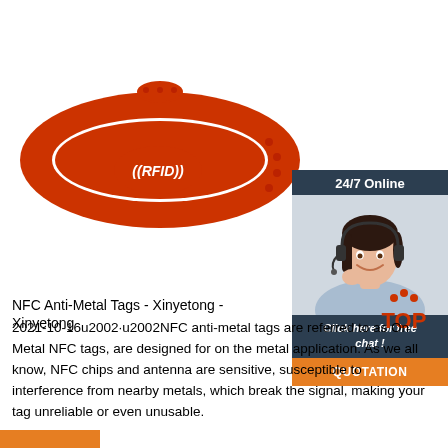[Figure (photo): Red/orange silicone RFID wristband with ((RFID)) text on the face, shown on white background]
[Figure (photo): 24/7 Online chat widget showing a smiling woman with headset, with 'Click here for free chat!' text and an orange QUOTATION button]
[Figure (logo): Red TOP badge with dots arranged in arc above the word TOP]
NFC Anti-Metal Tags - Xinyetong - Xinyetong
2021-10-16u2002·u2002NFC anti-metal tags are referred to as On Metal NFC tags, are designed for on the metal application. As we all know, NFC chips and antenna are sensitive, susceptible to interference from nearby metals, which break the signal, making your tag unreliable or even unusable.